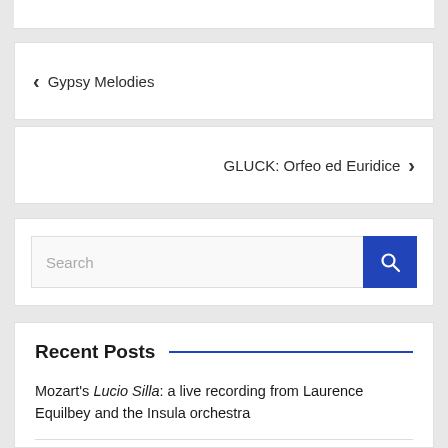< Gypsy Melodies
GLUCK: Orfeo ed Euridice >
[Figure (screenshot): Search input field with blue search button containing a magnifying glass icon]
Recent Posts
Mozart's Lucio Silla: a live recording from Laurence Equilbey and the Insula orchestra